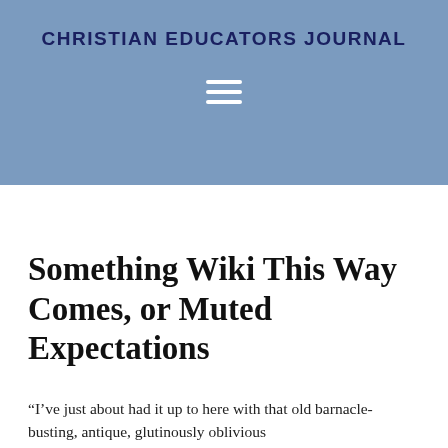CHRISTIAN EDUCATORS JOURNAL
Something Wiki This Way Comes, or Muted Expectations
“I’ve just about had it up to here with that old barnacle-busting, antique, glutinously oblivious